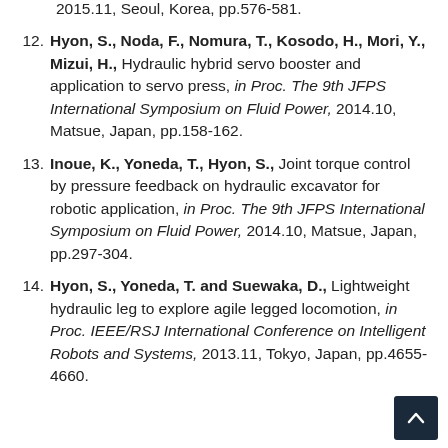2015.11, Seoul, Korea, pp.576-581.
12. Hyon, S., Noda, F., Nomura, T., Kosodo, H., Mori, Y., Mizui, H., Hydraulic hybrid servo booster and application to servo press, in Proc. The 9th JFPS International Symposium on Fluid Power, 2014.10, Matsue, Japan, pp.158-162.
13. Inoue, K., Yoneda, T., Hyon, S., Joint torque control by pressure feedback on hydraulic excavator for robotic application, in Proc. The 9th JFPS International Symposium on Fluid Power, 2014.10, Matsue, Japan, pp.297-304.
14. Hyon, S., Yoneda, T. and Suewaka, D., Lightweight hydraulic leg to explore agile legged locomotion, in Proc. IEEE/RSJ International Conference on Intelligent Robots and Systems, 2013.11, Tokyo, Japan, pp.4655-4660.